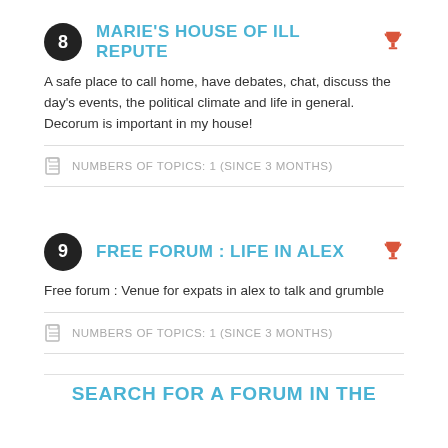8 MARIE'S HOUSE OF ILL REPUTE
A safe place to call home, have debates, chat, discuss the day's events, the political climate and life in general. Decorum is important in my house!
NUMBERS OF TOPICS: 1 (SINCE 3 MONTHS)
9 FREE FORUM : LIFE IN ALEX
Free forum : Venue for expats in alex to talk and grumble
NUMBERS OF TOPICS: 1 (SINCE 3 MONTHS)
SEARCH FOR A FORUM IN THE